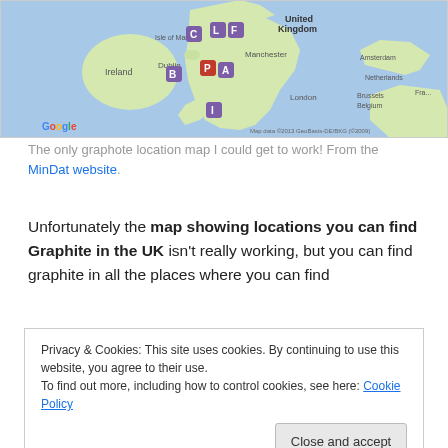[Figure (map): Google map showing locations of graphite in the UK, with labeled markers (C, L, F, B, P, A, I) across Ireland and UK. Map data ©2013 GeoBasis-DE/BKG (©2009).]
The only graphote location map I could get to work! From the MinDat website.
Unfortunately the map showing locations you can find Graphite in the UK isn't really working, but you can find graphite in all the places where you can find
Privacy & Cookies: This site uses cookies. By continuing to use this website, you agree to their use.
To find out more, including how to control cookies, see here: Cookie Policy
Close and accept
MinDat website.